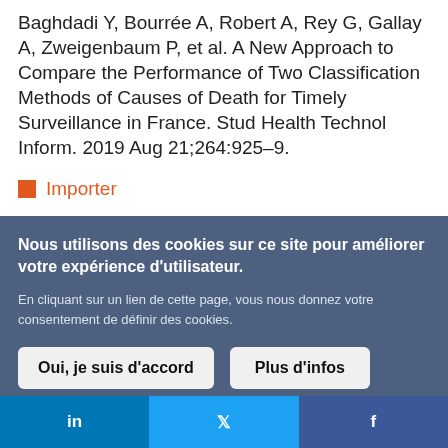Baghdadi Y, Bourrée A, Robert A, Rey G, Gallay A, Zweigenbaum P, et al. A New Approach to Compare the Performance of Two Classification Methods of Causes of Death for Timely Surveillance in France. Stud Health Technol Inform. 2019 Aug 21;264:925–9.
Importer
Nous utilisons des cookies sur ce site pour améliorer votre expérience d'utilisateur.
En cliquant sur un lien de cette page, vous nous donnez votre consentement de définir des cookies.
Oui, je suis d'accord
Plus d'infos
in  f